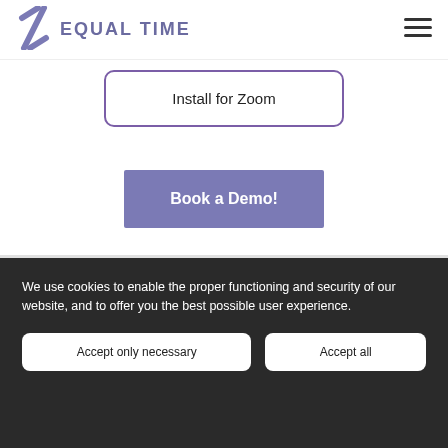[Figure (logo): Equal Time logo with stylized slash icon and text 'EQUAL TIME' in purple]
[Figure (other): Hamburger menu icon (three horizontal lines) top right]
Install for Zoom
Book a Demo!
We use cookies to enable the proper functioning and security of our website, and to offer you the best possible user experience.
Accept only necessary
Accept all